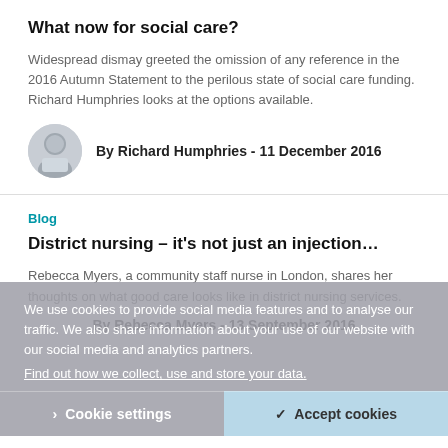What now for social care?
Widespread dismay greeted the omission of any reference in the 2016 Autumn Statement to the perilous state of social care funding. Richard Humphries looks at the options available.
By Richard Humphries - 11 December 2016
Blog
District nursing – it's not just an injection…
Rebecca Myers, a community staff nurse in London, shares her thoughts on what good care looks like in district nursing services.
By Rebecca Myers - 13 September 2016
We use cookies to provide social media features and to analyse our traffic. We also share information about your use of our website with our social media and analytics partners. Find out how we collect, use and store your data.